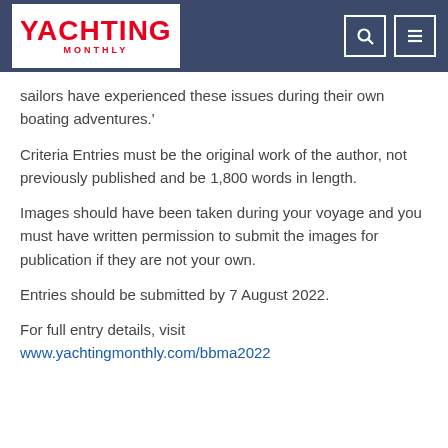Yachting Monthly
sailors have experienced these issues during their own boating adventures.'
Criteria Entries must be the original work of the author, not previously published and be 1,800 words in length.
Images should have been taken during your voyage and you must have written permission to submit the images for publication if they are not your own.
Entries should be submitted by 7 August 2022.
For full entry details, visit www.yachtingmonthly.com/bbma2022